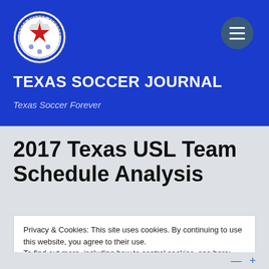[Figure (logo): Texas Soccer Journal circular logo with red star and soccer ball design]
TEXAS SOCCER JOURNAL
Texas Soccer Forever
2017 Texas USL Team Schedule Analysis
Privacy & Cookies: This site uses cookies. By continuing to use this website, you agree to their use.
To find out more, including how to control cookies, see here: Cookie Policy